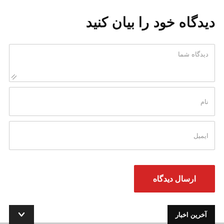دیدگاه خود را بیان کنید
دیدگاه شما
نام
ایمیل
ارسال دیدگاه
آخرین اخبار